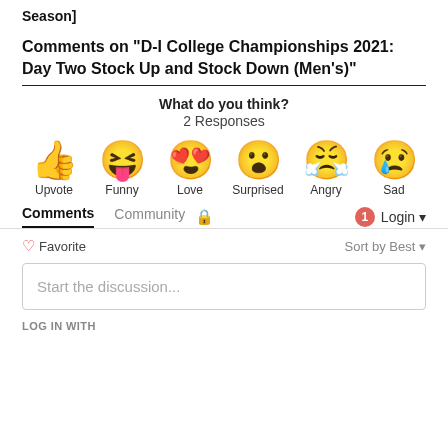Season]
Comments on "D-I College Championships 2021: Day Two Stock Up and Stock Down (Men's)"
What do you think?
2 Responses
[Figure (infographic): Six emoji reaction buttons: Upvote (thumbs up), Funny (laughing face with tongue), Love (heart eyes face), Surprised (surprised face), Angry (crying/angry face), Sad (sad face with tear)]
Comments  Community  [lock]  [1] Login
♡ Favorite   Sort by Best
Start the discussion...
LOG IN WITH